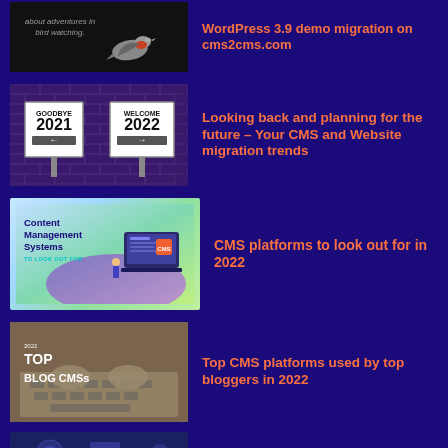[Figure (screenshot): Thumbnail image of a bird on black background with text about adventures in bird watching]
WordPress 3.9 demo migration on cms2cms.com
[Figure (photo): Goodbye 2021 / Welcome 2022 street signs against brick wall]
Looking back and planning for the future – Your CMS and Website migration trends
[Figure (infographic): Content Management Systems To Look Out For graphic with laptop illustration]
CMS platforms to look out for in 2022
[Figure (photo): 2022 Top Blog CMSs photo with hands on laptop keyboard]
Top CMS platforms used by top bloggers in 2022
[Figure (screenshot): Dark blue partial thumbnail at bottom of page]